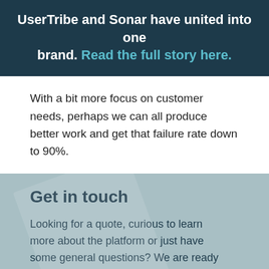UserTribe and Sonar have united into one brand. Read the full story here.
With a bit more focus on customer needs, perhaps we can all produce better work and get that failure rate down to 90%.
Get in touch
Looking for a quote, curious to learn more about the platform or just have some general questions? We are ready to help!